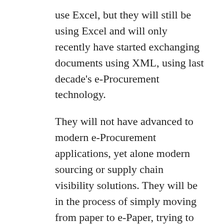use Excel, but they will still be using Excel and will only recently have started exchanging documents using XML, using last decade's e-Procurement technology.
They will not have advanced to modern e-Procurement applications, yet alone modern sourcing or supply chain visibility solutions. They will be in the process of simply moving from paper to e-Paper, trying to still conduct RFIs through e-mail with Excel (and just uploading the results to the first generation decade(s)-old e-Procurement solution), and generally trying to keep their outdated procurement processes in tact.
However, as we now know, first generation procurement and sourcing, focused primarily on e-document exchange, simple RFXs, the odd auction, and basic reporting is not enough. You need modern